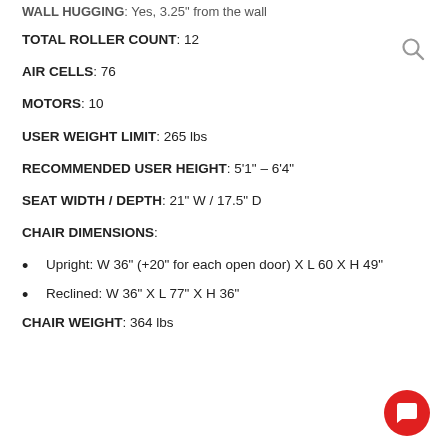WALL HUGGING: Yes, 3.25" from the wall
TOTAL ROLLER COUNT: 12
AIR CELLS: 76
MOTORS: 10
USER WEIGHT LIMIT: 265 lbs
RECOMMENDED USER HEIGHT: 5'1" – 6'4"
SEAT WIDTH / DEPTH: 21" W / 17.5" D
CHAIR DIMENSIONS:
Upright: W 36" (+20" for each open door) X L 60 X H 49"
Reclined: W 36" X L 77" X H 36"
CHAIR WEIGHT: 364 lbs